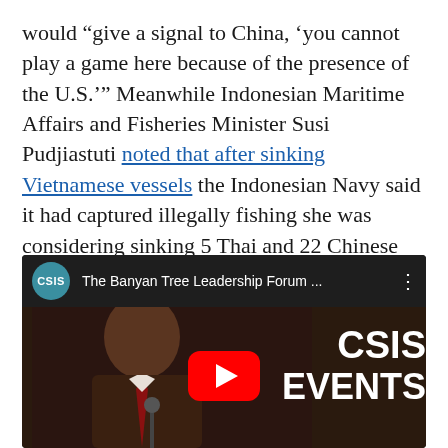would “give a signal to China, ‘you cannot play a game here because of the presence of the U.S.’” Meanwhile Indonesian Maritime Affairs and Fisheries Minister Susi Pudjiastuti noted that after sinking Vietnamese vessels the Indonesian Navy said it had captured illegally fishing she was considering sinking 5 Thai and 22 Chinese vessels also caught.
[Figure (screenshot): YouTube video embed thumbnail showing a CSIS (Center for Strategic and International Studies) video titled 'The Banyan Tree Leadership Forum ...' with a man in a suit speaking, and CSIS EVENTS text on the right side, with a YouTube play button in the center.]